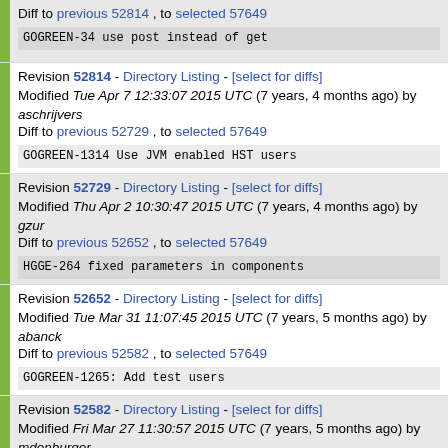Diff to previous 52814 , to selected 57649
GOGREEN-34 use post instead of get
Revision 52814 - Directory Listing - [select for diffs]
Modified Tue Apr 7 12:33:07 2015 UTC (7 years, 4 months ago) by aschrijvers
Diff to previous 52729 , to selected 57649
GOGREEN-1314 Use JVM enabled HST users
Revision 52729 - Directory Listing - [select for diffs]
Modified Thu Apr 2 10:30:47 2015 UTC (7 years, 4 months ago) by gzur
Diff to previous 52652 , to selected 57649
HGGE-264 fixed parameters in components
Revision 52652 - Directory Listing - [select for diffs]
Modified Tue Mar 31 11:07:45 2015 UTC (7 years, 5 months ago) by abanck
Diff to previous 52582 , to selected 57649
GOGREEN-1265: Add test users
Revision 52582 - Directory Listing - [select for diffs]
Modified Fri Mar 27 11:30:57 2015 UTC (7 years, 5 months ago) by mdenburger
Diff to previous 52525 , to selected 57649
CMS7-8756: fix document type in ListViewInfo
Revision 52525 - Directory Listing - [select for diffs]
Modified Wed Mar 25 14:45:54 2015 UTC (7 years, 5 months ago) by